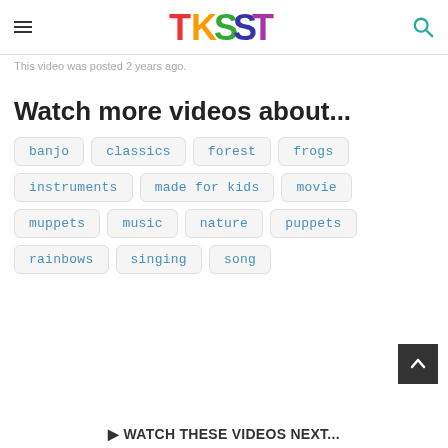TKSST
This video was posted 2 years ago.
Watch more videos about...
banjo
classics
forest
frogs
instruments
made for kids
movie
muppets
music
nature
puppets
rainbows
singing
song
▶ WATCH THESE VIDEOS NEXT...